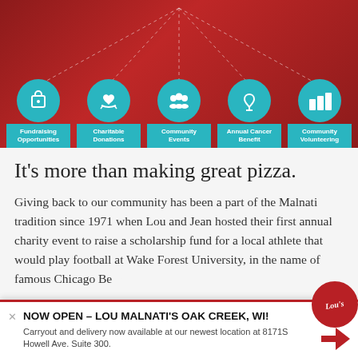[Figure (infographic): Red banner with five teal circular icons connected by dotted lines from top center. Icons represent: Fundraising Opportunities, Charitable Donations, Community Events, Annual Cancer Benefit, Community Volunteering. Each icon has a teal label box below.]
It's more than making great pizza.
Giving back to our community has been a part of the Malnati tradition since 1971 when Lou and Jean hosted their first annual charity event to raise a scholarship fund for a local athlete that would play football at Wake Forest University, in the name of famous Chicago Bea
NOW OPEN – LOU MALNATI'S OAK CREEK, WI! Carryout and delivery now available at our newest location at 8171S Howell Ave. Suite 300.